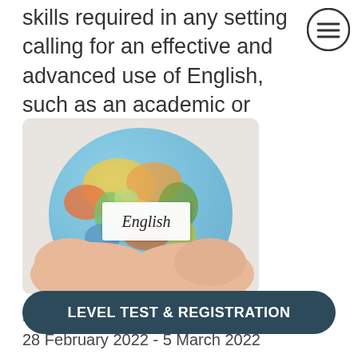skills required in any setting calling for an effective and advanced use of English, such as an academic or career context.
[Figure (photo): Hands holding a small colorful globe with a white card labeled 'English' in cursive script]
LESSONS
28 February 2022 - 5 March 2022
Monday-Saturday 9:00-13:00
+ 4 extra sessions on 15/3, 21, 25/1, 7/3,
LEVEL TEST & REGISTRATION